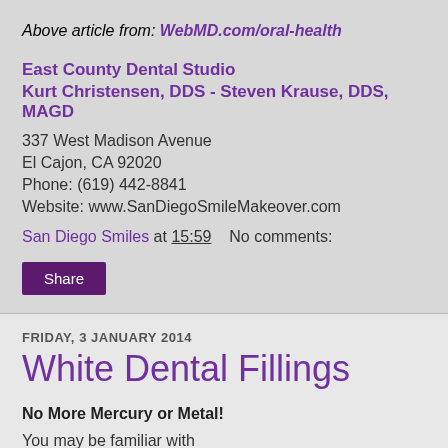Above article from: WebMD.com/oral-health
East County Dental Studio
Kurt Christensen, DDS - Steven Krause, DDS, MAGD
337 West Madison Avenue
El Cajon, CA 92020
Phone: (619) 442-8841
Website: www.SanDiegoSmileMakeover.com
San Diego Smiles at 15:59    No comments:
Share
FRIDAY, 3 JANUARY 2014
White Dental Fillings
No More Mercury or Metal!
You may be familiar with the silver-mercury amalgam that is the filling